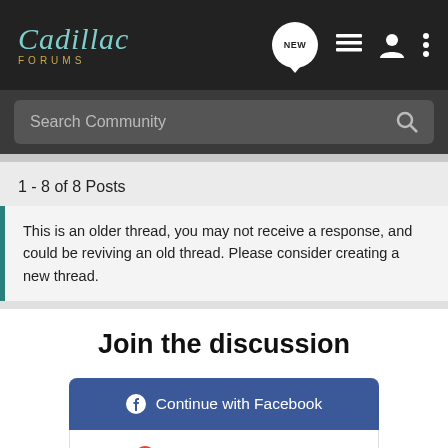Cadillac FORUMS
Search Community
1 - 8 of 8 Posts
This is an older thread, you may not receive a response, and could be reviving an old thread. Please consider creating a new thread.
Join the discussion
Continue with Facebook
Continue with Google
Continue with Apple